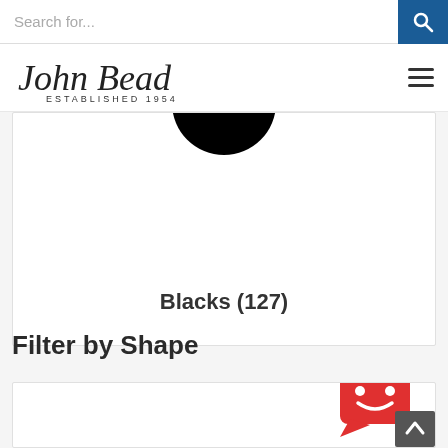Search for...
[Figure (logo): John Bead cursive logo with ESTABLISHED 1954 text underneath]
[Figure (illustration): Black circle (color swatch) representing Blacks category]
Blacks (127)
Filter by Shape
[Figure (other): Red chat button icon with smiley face in bottom right corner]